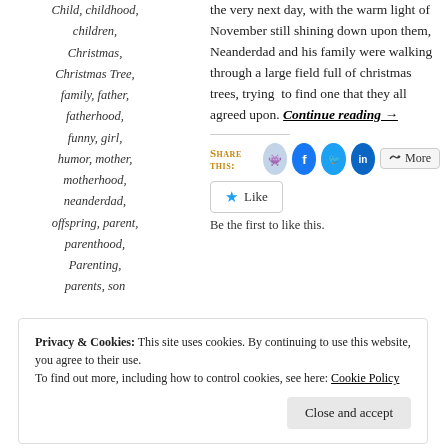Child, childhood, children, Christmas, Christmas Tree, family, father, fatherhood, funny, girl, humor, mother, motherhood, neanderdad, offspring, parent, parenthood, Parenting, parents, son
the very next day, with the warm light of November still shining down upon them, Neanderdad and his family were walking through a large field full of christmas trees, trying to find one that they all agreed upon. Continue reading →
Share this:
Like
Be the first to like this.
Privacy & Cookies: This site uses cookies. By continuing to use this website, you agree to their use.
To find out more, including how to control cookies, see here: Cookie Policy